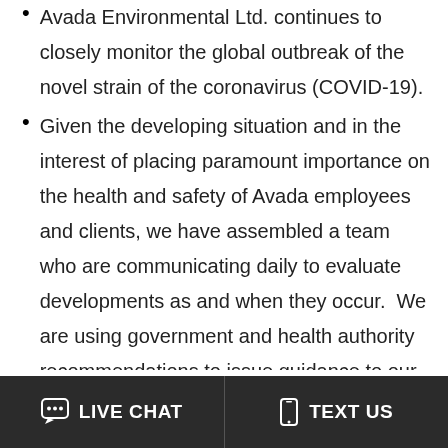Avada Environmental Ltd. continues to closely monitor the global outbreak of the novel strain of the coronavirus (COVID-19).
Given the developing situation and in the interest of placing paramount importance on the health and safety of Avada employees and clients, we have assembled a team who are communicating daily to evaluate developments as and when they occur. We are using government and health authority recommendations to issue guidance to our staff and clients. We aim to ensure that in any oil emergency situation we are in the best position
LIVE CHAT   TEXT US